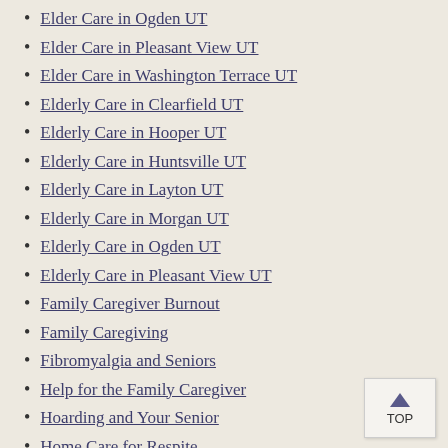Elder Care in Ogden UT
Elder Care in Pleasant View UT
Elder Care in Washington Terrace UT
Elderly Care in Clearfield UT
Elderly Care in Hooper UT
Elderly Care in Huntsville UT
Elderly Care in Layton UT
Elderly Care in Morgan UT
Elderly Care in Ogden UT
Elderly Care in Pleasant View UT
Family Caregiver Burnout
Family Caregiving
Fibromyalgia and Seniors
Help for the Family Caregiver
Hoarding and Your Senior
Home Care for Respite